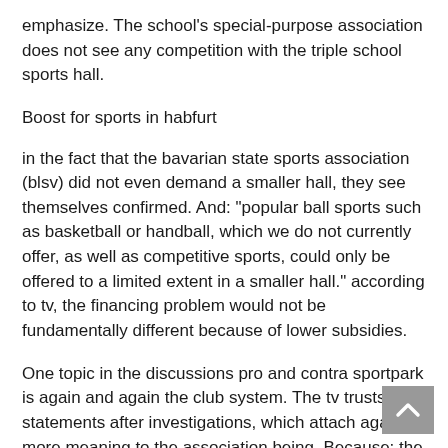emphasize. The school's special-purpose association does not see any competition with the triple school sports hall.
Boost for sports in habfurt
in the fact that the bavarian state sports association (blsv) did not even demand a smaller hall, they see themselves confirmed. And: "popular ball sports such as basketball or handball, which we do not currently offer, as well as competitive sports, could only be offered to a limited extent in a smaller hall." according to tv, the financing problem would not be fundamentally different because of lower subsidies.
One topic in the discussions pro and contra sportpark is again and again the club system. The tv trusts own statements after investigations, which attach again more meaning to the association being. Because: the lower income groups were on the rise.